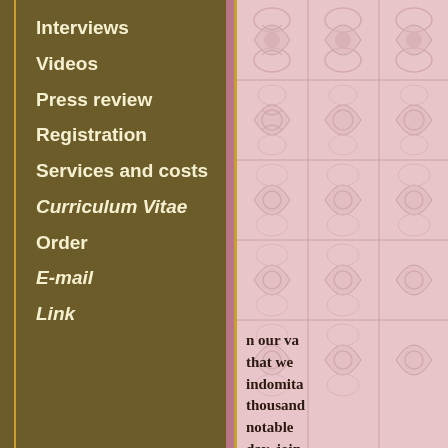Interviews
Videos
Press review
Registration
Services and costs
Curriculum Vitae
Order
E-mail
Link
[Figure (illustration): Decorative pink tile/floral damask pattern background on the right panel]
n our va that we indomita thousand notable day, join dispea
The historic research, calle Marquis Vittorio Spreti Ins not the blood line, but th discovering events that s